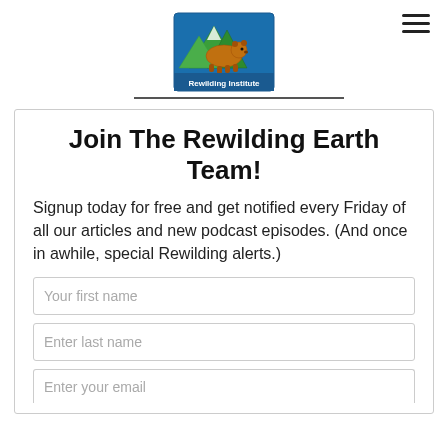[Figure (logo): Rewilding Institute logo with bear/animal silhouette in mountains, colorful graphic with green and orange, text 'Rewilding Institute' on blue background]
Join The Rewilding Earth Team!
Signup today for free and get notified every Friday of all our articles and new podcast episodes. (And once in awhile, special Rewilding alerts.)
Your first name
Enter last name
Enter your email